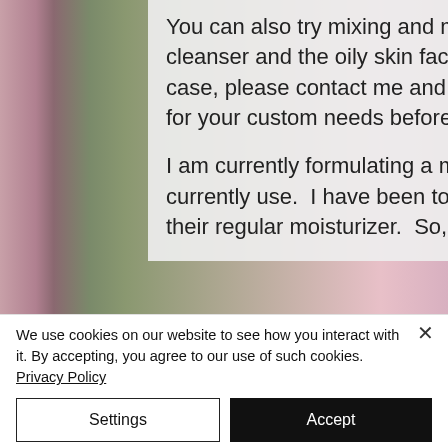[Figure (photo): Background photo of pink flowers and green bokeh, partially visible behind a semi-transparent text overlay box.]
You can also try mixing and matching! You may find the normal to combo cleanser and the oily skin face oil is YOUR best fit! If you find that is the case, please contact me and I can make sure you get the Facial Kit price for your custom needs before you purchase!

I am currently formulating a moisturizer, so until then, use what you currently use.  I have been told by many, they felt they didn't need to use their regular moisturizer.  So, you be the judge.
We use cookies on our website to see how you interact with it. By accepting, you agree to our use of such cookies. Privacy Policy